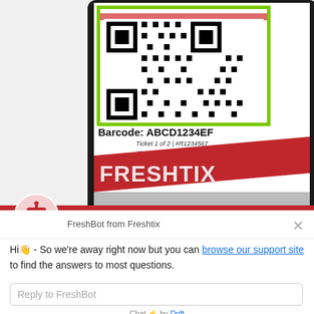[Figure (screenshot): A smartphone screen showing a QR code barcode scanner app. The screen displays a QR code inside a green scanning border with a red scan line across it. Below the QR code is text 'Barcode: ABCD1234EF' and smaller text 'Ticket 1 of 2 | #R1234567 / Ticket Type A | Price: $20'. Below is a red diagonal stripe with 'FRESHTIX' text in white.]
Hi 👋 - So we're away right now but you can browse our support site to find the answers to most questions.
Reply to FreshBot
Chat ⚡ by Drift